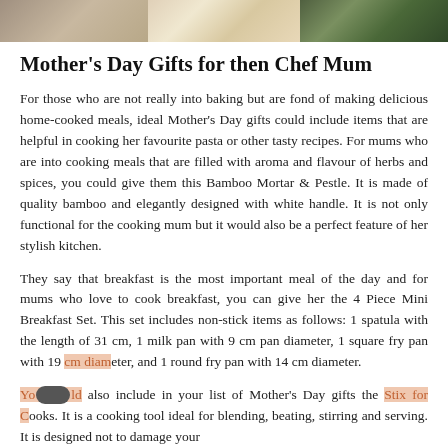[Figure (photo): A horizontal strip of three photographs at the top of the page: left shows an animal/pet, center shows a person with light hair, right shows green grapes or berries on a vine.]
Mother's Day Gifts for then Chef Mum
For those who are not really into baking but are fond of making delicious home-cooked meals, ideal Mother's Day gifts could include items that are helpful in cooking her favourite pasta or other tasty recipes. For mums who are into cooking meals that are filled with aroma and flavour of herbs and spices, you could give them this Bamboo Mortar & Pestle. It is made of quality bamboo and elegantly designed with white handle. It is not only functional for the cooking mum but it would also be a perfect feature of her stylish kitchen.
They say that breakfast is the most important meal of the day and for mums who love to cook breakfast, you can give her the 4 Piece Mini Breakfast Set. This set includes non-stick items as follows: 1 spatula with the length of 31 cm, 1 milk pan with 9 cm pan diameter, 1 square fry pan with 19 cm diameter, and 1 round fry pan with 14 cm diameter.
You could also include in your list of Mother's Day gifts the Stix for Cooks. It is a cooking tool ideal for blending, beating, stirring and serving. It is designed not to damage your